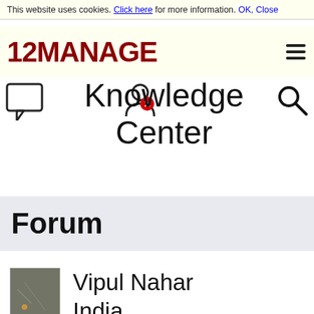This website uses cookies. Click here for more information. OK, Close
[Figure (logo): 12MANAGE logo in dark red bold text with hamburger menu icon]
Knowledge Center
Forum
Vipul Nahar
India